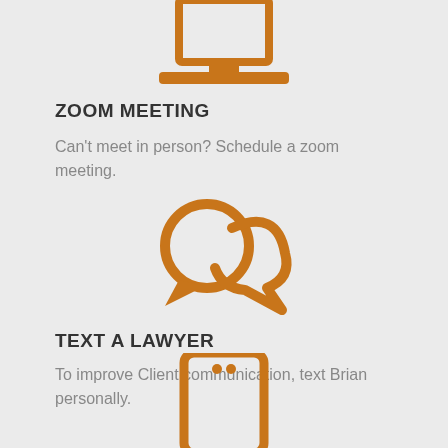[Figure (illustration): Orange laptop icon (partial, top of page)]
ZOOM MEETING
Can't meet in person? Schedule a zoom meeting.
[Figure (illustration): Orange speech bubbles / chat icon]
TEXT A LAWYER
To improve Client communication, text Brian personally.
[Figure (illustration): Orange smartphone icon (partial, bottom of page)]